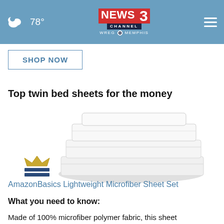78° NEWS CHANNEL 3 WREG MEMPHIS
SHOP NOW
Top twin bed sheets for the money
[Figure (photo): Stack of folded white bed sheets (AmazonBasics Lightweight Microfiber Sheet Set) with a crown and rating bars icon in the lower left]
AmazonBasics Lightweight Microfiber Sheet Set
What you need to know:
Made of 100% microfiber polymer fabric, this sheet